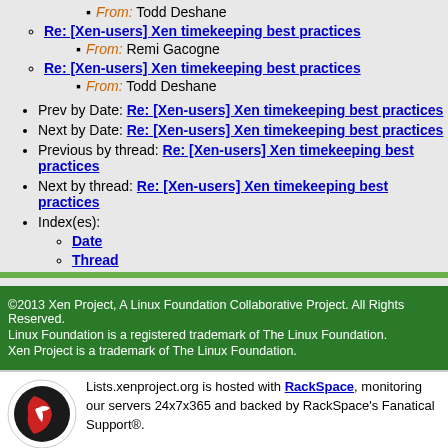From: Todd Deshane
Re: [Xen-users] Xen timekeeping best practices
From: Remi Gacogne
Re: [Xen-users] Xen timekeeping best practices
From: Todd Deshane
Prev by Date: Re: [Xen-users] Xen timekeeping best practices
Next by Date: Re: [Xen-users] Xen timekeeping best practices
Previous by thread: Re: [Xen-users] Xen timekeeping best practices
Next by thread: Re: [Xen-users] Xen timekeeping best practices
Index(es):
Date
Thread
©2013 Xen Project, A Linux Foundation Collaborative Project. All Rights Reserved. Linux Foundation is a registered trademark of The Linux Foundation. Xen Project is a trademark of The Linux Foundation.
Lists.xenproject.org is hosted with RackSpace, monitoring our servers 24x7x365 and backed by RackSpace's Fanatical Support®.